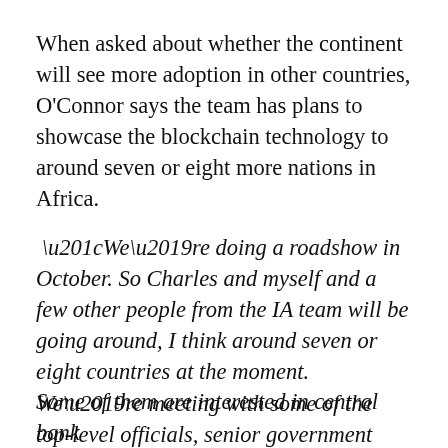When asked about whether the continent will see more adoption in other countries, O'Connor says the team has plans to showcase the blockchain technology to around seven or eight more nations in Africa.
“We’re doing a roadshow in October. So Charles and myself and a few other people from the IA team will be going around, I think around seven or eight countries at the moment. We’re meeting with some of the top-level officials, senior government officials, presidents, who are all interested in seeing more about our identity solution.
Some of them are interested in central bank...